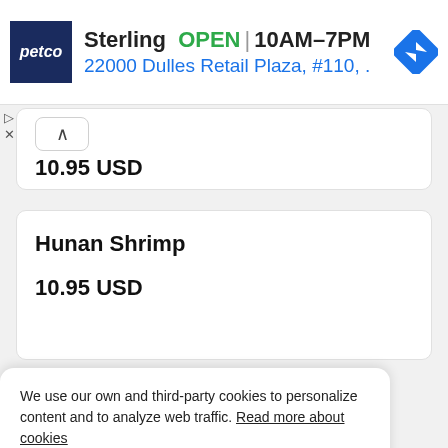[Figure (screenshot): Petco store ad banner showing Sterling location with OPEN status, hours 10AM-7PM, address 22000 Dulles Retail Plaza #110, with navigation icon]
10.95 USD
Hunan Shrimp
10.95 USD
We use our own and third-party cookies to personalize content and to analyze web traffic. Read more about cookies
Accept cookies
Reject